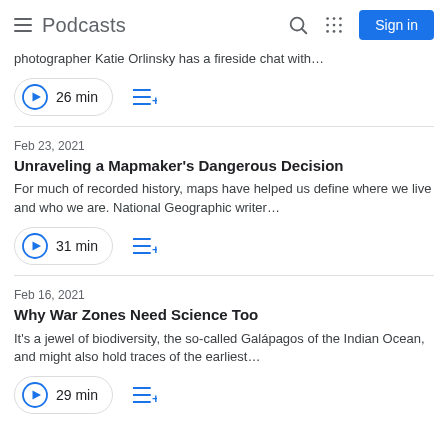Podcasts
photographer Katie Orlinsky has a fireside chat with...
26 min
Feb 23, 2021
Unraveling a Mapmaker's Dangerous Decision
For much of recorded history, maps have helped us define where we live and who we are. National Geographic writer...
31 min
Feb 16, 2021
Why War Zones Need Science Too
It's a jewel of biodiversity, the so-called Galápagos of the Indian Ocean, and might also hold traces of the earliest...
29 min